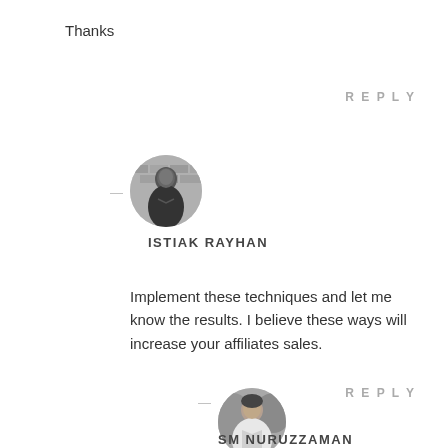Thanks
REPLY
[Figure (photo): Circular avatar photo of Istiak Rayhan, a man in dark shirt, black and white photo]
ISTIAK RAYHAN
Implement these techniques and let me know the results. I believe these ways will increase your affiliates sales.
REPLY
[Figure (photo): Circular avatar photo of SM Nuruzzaman, a man in white shirt]
SM NURUZZAMAN